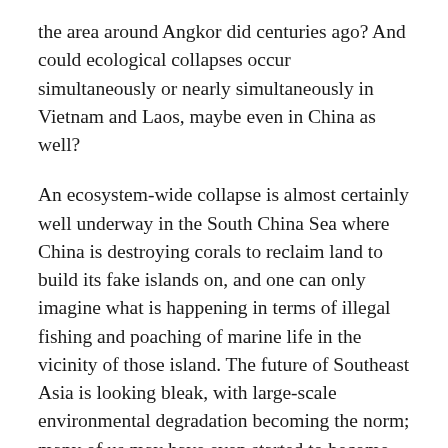the area around Angkor did centuries ago? And could ecological collapses occur simultaneously or nearly simultaneously in Vietnam and Laos, maybe even in China as well?
An ecosystem-wide collapse is almost certainly well underway in the South China Sea where China is destroying corals to reclaim land to build its fake islands on, and one can only imagine what is happening in terms of illegal fishing and poaching of marine life in the vicinity of those island. The future of Southeast Asia is looking bleak, with large-scale environmental degradation becoming the norm; many of us may have even started to become numb to it.
Shopping malls, cement, highways, airports, steel and glass structures, smog and dead seas, denuded